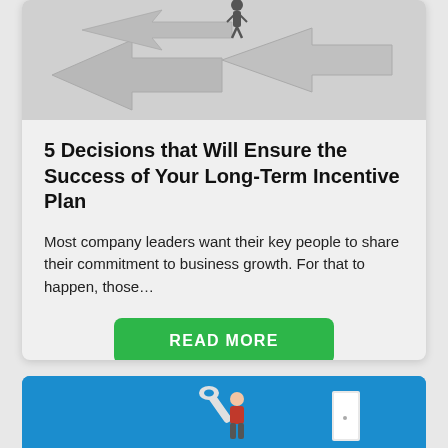[Figure (illustration): 3D arrows pointing in multiple directions with a businessman figure standing on top, on a light gray background]
5 Decisions that Will Ensure the Success of Your Long-Term Incentive Plan
Most company leaders want their key people to share their commitment to business growth. For that to happen, those…
READ MORE
[Figure (illustration): Blue banner with a cartoon person in a red jacket holding a large wrench, next to a door, on a blue background]